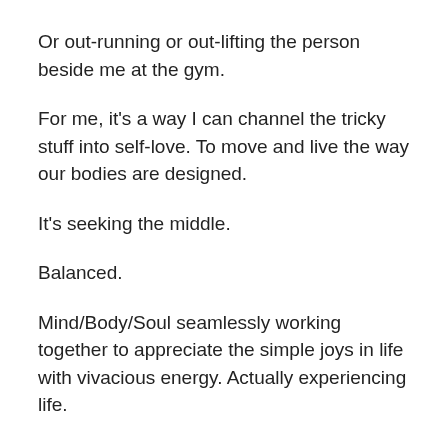Or out-running or out-lifting the person beside me at the gym.
For me, it's a way I can channel the tricky stuff into self-love. To move and live the way our bodies are designed.
It's seeking the middle.
Balanced.
Mind/Body/Soul seamlessly working together to appreciate the simple joys in life with vivacious energy. Actually experiencing life.
I struggle with the extreme side of the fitness industry.
Push past physical pain.